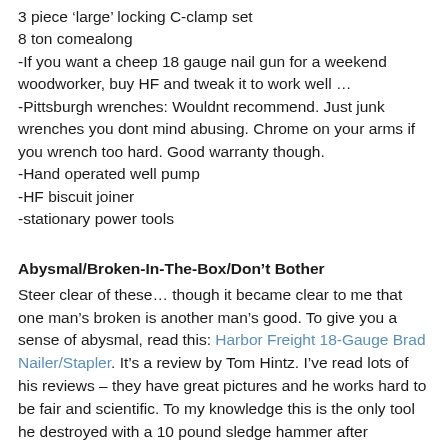3 piece 'large' locking C-clamp set
8 ton comealong
-If you want a cheep 18 gauge nail gun for a weekend woodworker, buy HF and tweak it to work well …
-Pittsburgh wrenches: Wouldnt recommend. Just junk wrenches you dont mind abusing. Chrome on your arms if you wrench too hard. Good warranty though.
-Hand operated well pump
-HF biscuit joiner
-stationary power tools
Abysmal/Broken-In-The-Box/Don't Bother
Steer clear of these… though it became clear to me that one man's broken is another man's good. To give you a sense of abysmal, read this: Harbor Freight 18-Gauge Brad Nailer/Stapler. It's a review by Tom Hintz. I've read lots of his reviews – they have great pictures and he works hard to be fair and scientific. To my knowledge this is the only tool he destroyed with a 10 pound sledge hammer after completing his review.